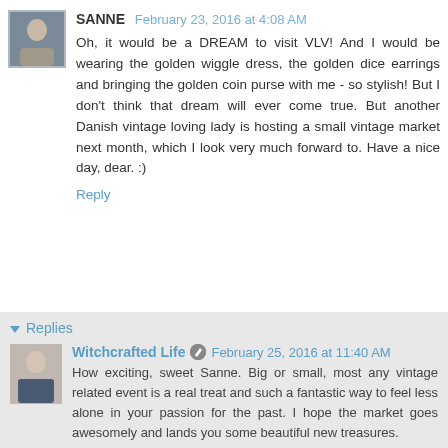SANNE   February 23, 2016 at 4:08 AM
Oh, it would be a DREAM to visit VLV! And I would be wearing the golden wiggle dress, the golden dice earrings and bringing the golden coin purse with me - so stylish! But I don't think that dream will ever come true. But another Danish vintage loving lady is hosting a small vintage market next month, which I look very much forward to. Have a nice day, dear. :)
Reply
Replies
Witchcrafted Life   February 25, 2016 at 11:40 AM
How exciting, sweet Sanne. Big or small, most any vintage related event is a real treat and such a fantastic way to feel less alone in your passion for the past. I hope the market goes awesomely and lands you some beautiful new treasures.
Tons of hugs & happy end-of-February wishes!